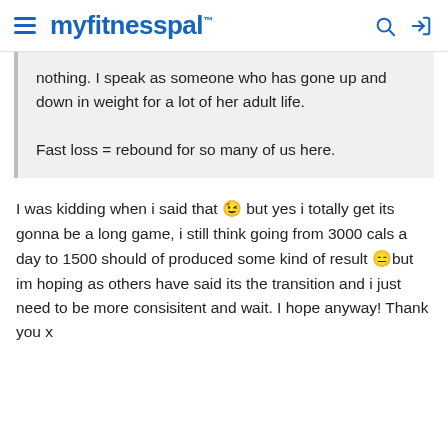myfitnesspal
nothing. I speak as someone who has gone up and down in weight for a lot of her adult life.

Fast loss = rebound for so many of us here.
I was kidding when i said that 😉 but yes i totally get its gonna be a long game, i still think going from 3000 cals a day to 1500 should of produced some kind of result 😑but im hoping as others have said its the transition and i just need to be more consisitent and wait. I hope anyway! Thank you x